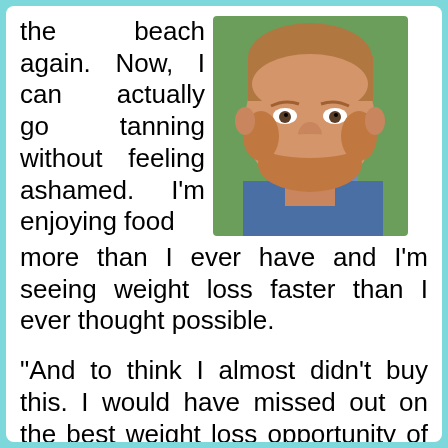the beach again. Now, I can actually go tanning without feeling ashamed. I'm enjoying food more than I ever have and I'm seeing weight loss faster than I ever thought possible.
[Figure (photo): Smiling man with beard wearing a dark blue t-shirt, photographed outdoors with green background]
“And to think I almost didn’t buy this. I would have missed out on the best weight loss opportunity of my life!”
Jeremy Hawker – Naples, FL